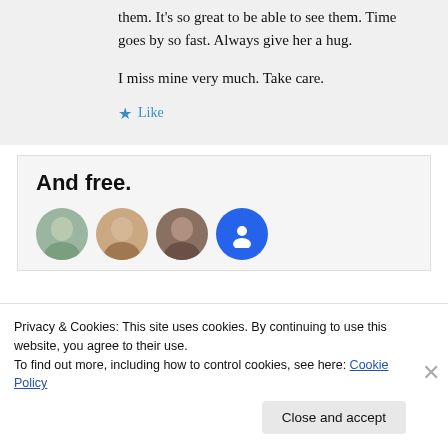them. It's so great to be able to see them. Time goes by so fast. Always give her a hug.

I miss mine very much. Take care.
Like
And free.
[Figure (photo): Row of four circular avatar photos of people, the last one is a blue circle with a white icon]
Privacy & Cookies: This site uses cookies. By continuing to use this website, you agree to their use.
To find out more, including how to control cookies, see here: Cookie Policy
Close and accept